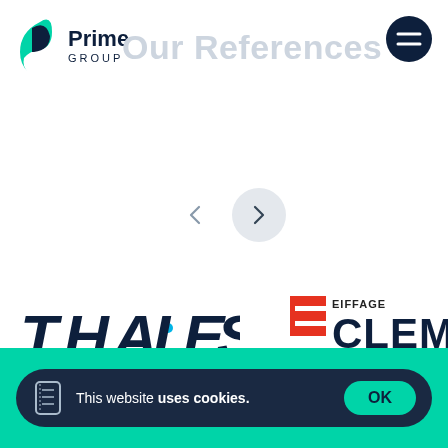[Figure (logo): Prime Group logo with green leaf/P icon and dark blue text]
Our References
[Figure (other): Navigation arrows: left arrow (inactive) and right arrow in light grey circle]
[Figure (logo): THALES logo in dark navy blue italic bold font with cyan dot accent]
[Figure (logo): EIFFAGE CLEMA logo with red horizontal lines icon and dark text]
This website uses cookies.
OK